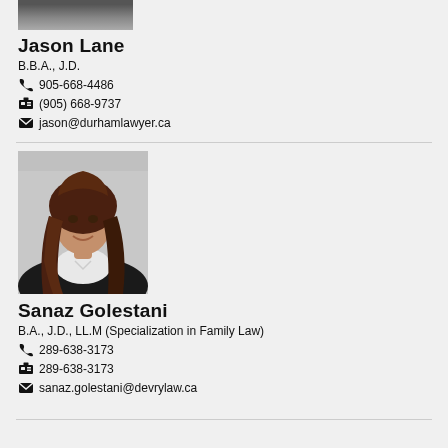[Figure (photo): Partial photo of Jason Lane (top portion cropped)]
Jason Lane
B.B.A., J.D.
📞 905-668-4486
📠 (905) 668-9737
✉ jason@durhamlawyer.ca
[Figure (photo): Professional headshot of Sanaz Golestani, a woman with long wavy brown hair, wearing a black jacket and white top, smiling]
Sanaz Golestani
B.A., J.D., LL.M (Specialization in Family Law)
📞 289-638-3173
📠 289-638-3173
✉ sanaz.golestani@devrylaw.ca